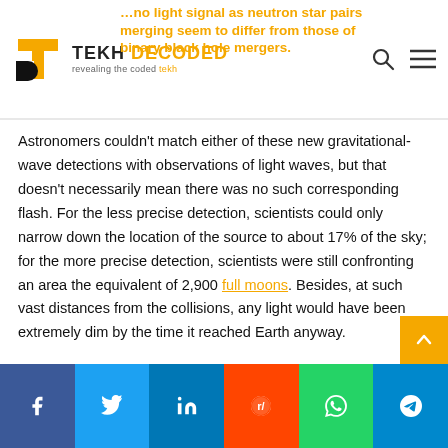TEKH DECODED — revealing the coded tekh
…no light signal as neutron star pairs merging seem to differ from those of binary black hole mergers.
Astronomers couldn't match either of these new gravitational-wave detections with observations of light waves, but that doesn't necessarily mean there was no such corresponding flash. For the less precise detection, scientists could only narrow down the location of the source to about 17% of the sky; for the more precise detection, scientists were still confronting an area the equivalent of 2,900 full moons. Besides, at such vast distances from the collisions, any light would have been extremely dim by the time it reached Earth anyway.
However, the scientists do suspect that at least for these particular mergers, there was no light signal to see.
Facebook | Twitter | LinkedIn | Reddit | WhatsApp | Telegram